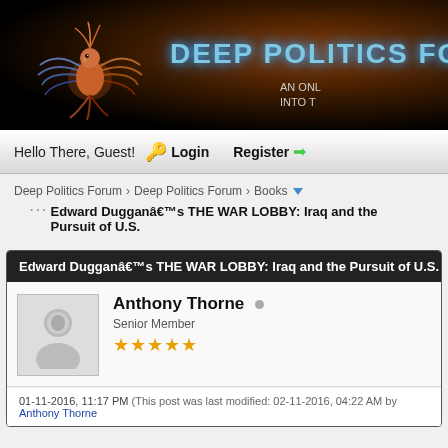[Figure (screenshot): Deep Politics Forum banner with stylized bird logo and blue glowing text on dark background]
Hello There, Guest! Login Register
Deep Politics Forum › Deep Politics Forum › Books
Edward Dugganâ€™s THE WAR LOBBY: Iraq and the Pursuit of U.S.
Edward Dugganâ€™s THE WAR LOBBY: Iraq and the Pursuit of U.S. P
Anthony Thorne
Senior Member
★★★★★
01-11-2016, 11:17 PM (This post was last modified: 02-11-2016, 04:22 AM by Anthony Thorne